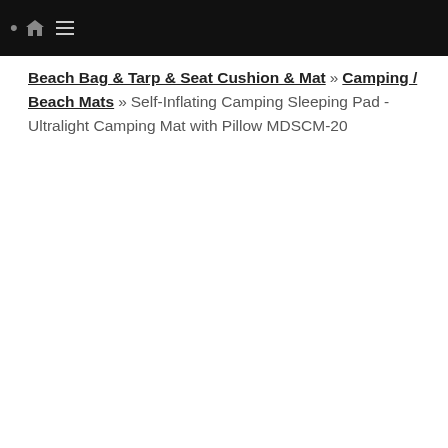Navigation bar with home icon and hamburger menu
Beach Bag & Tarp & Seat Cushion & Mat » Camping / Beach Mats » Self-Inflating Camping Sleeping Pad - Ultralight Camping Mat with Pillow MDSCM-20